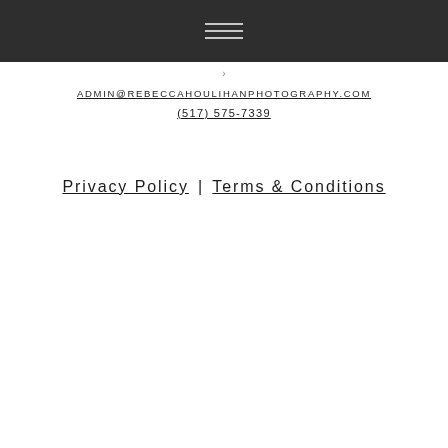[hamburger menu icon]
ADMIN@REBECCAHOULIHANPHOTOGRAPHY.COM
(517) 575-7339
Privacy Policy | Terms & Conditions